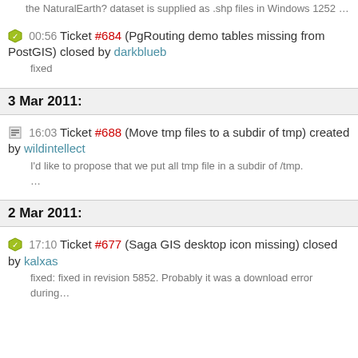the NaturalEarth? dataset is supplied as .shp files in Windows 1252 …
00:56 Ticket #684 (PgRouting demo tables missing from PostGIS) closed by darkblueb
fixed
3 Mar 2011:
16:03 Ticket #688 (Move tmp files to a subdir of tmp) created by wildintellect
I'd like to propose that we put all tmp file in a subdir of /tmp. …
2 Mar 2011:
17:10 Ticket #677 (Saga GIS desktop icon missing) closed by kalxas
fixed: fixed in revision 5852. Probably it was a download error during…